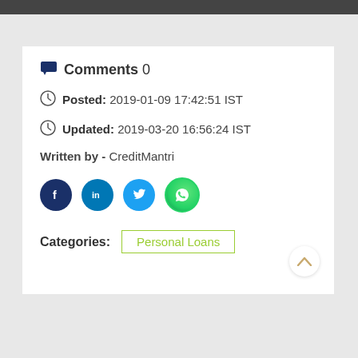Comments 0
Posted: 2019-01-09 17:42:51 IST
Updated: 2019-03-20 16:56:24 IST
Written by - CreditMantri
[Figure (other): Social sharing icons: Facebook, LinkedIn, Twitter, WhatsApp]
Categories: Personal Loans